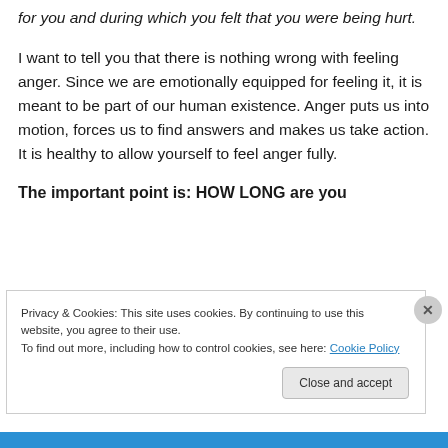for you and during which you felt that you were being hurt.
I want to tell you that there is nothing wrong with feeling anger. Since we are emotionally equipped for feeling it, it is meant to be part of our human existence. Anger puts us into motion, forces us to find answers and makes us take action. It is healthy to allow yourself to feel anger fully.
The important point is: HOW LONG are you
Privacy & Cookies: This site uses cookies. By continuing to use this website, you agree to their use.
To find out more, including how to control cookies, see here: Cookie Policy
Close and accept